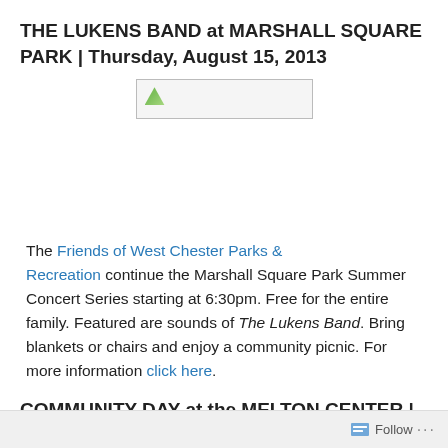THE LUKENS BAND at MARSHALL SQUARE PARK | Thursday, August 15, 2013
[Figure (photo): Broken/unloaded image placeholder]
The Friends of West Chester Parks & Recreation continue the Marshall Square Park Summer Concert Series starting at 6:30pm. Free for the entire family. Featured are sounds of The Lukens Band. Bring blankets or chairs and enjoy a community picnic. For more information click here.
COMMUNITY DAY at the MELTON CENTER | Sunday, August 18, 2013
Follow ...